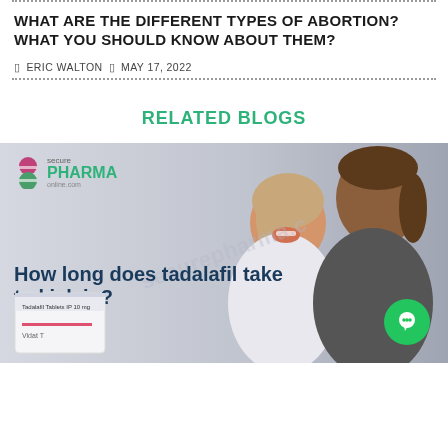WHAT ARE THE DIFFERENT TYPES OF ABORTION? WHAT YOU SHOULD KNOW ABOUT THEM?
ERIC WALTON   MAY 17, 2022
RELATED BLOGS
[Figure (photo): Blog card image for 'How long does tadalafil take to kick in?' with SecurePharmaOnline.com logo, a couple embracing, and a medicine box in the foreground]